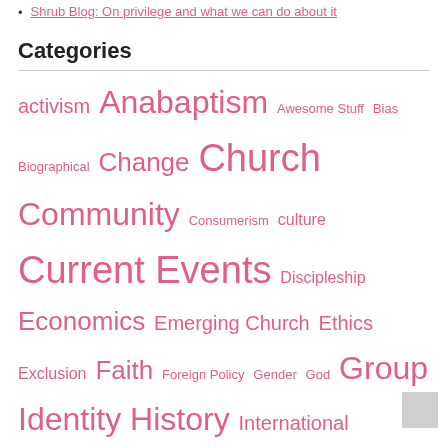Shrub Blog: On privilege and what we can do about it
Categories
activism Anabaptism Awesome Stuff Bias Biographical Change Church Community Consumerism culture Current Events Discipleship Economics Emerging Church Ethics Exclusion Faith Foreign Policy Gender God Group Identity History International Relations LGBTQ Love Media Mennonite Church USA Meta (YAR) Nonviolence Peace & Peacemaking Politics poverty Power Privilege Race Sexism Spiritual Life The Bible Theology Tolerance Tradition Uncategorized US Military Wealth Young Folks
Recent Comments